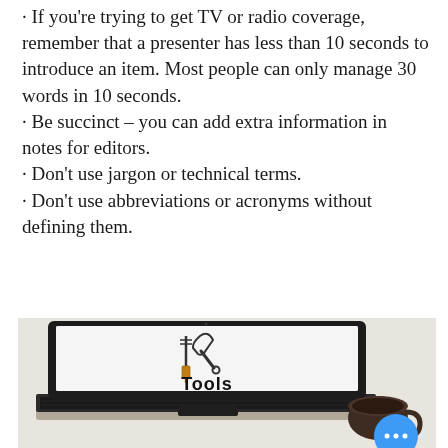· If you're trying to get TV or radio coverage, remember that a presenter has less than 10 seconds to introduce an item. Most people can only manage 30 words in 10 seconds.
· Be succinct – you can add extra information in notes for editors.
· Don't use jargon or technical terms.
· Don't use abbreviations or acronyms without defining them.
[Figure (photo): A laptop computer displaying a 'Tools' graphic with a screwdriver and wrench icon on screen, placed on a desk next to a coffee mug. A blue circle with three dots (chat/menu button) is visible in the bottom right corner.]